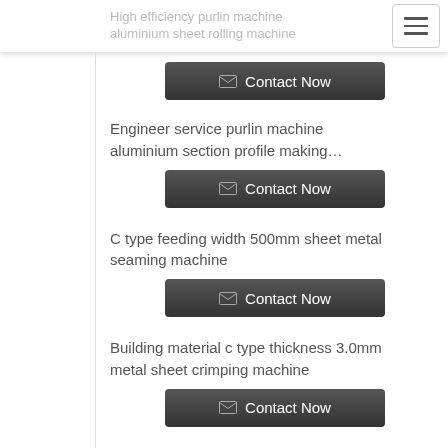High efficiency purlin machine aluminium sheet rolling machine
Engineer service purlin machine aluminium section profile making…
C type feeding width 500mm sheet metal seaming machine
Building material c type thickness 3.0mm metal sheet crimping machine
Excellent quality c type thickness 1.5mm sheet metal machine
Excellent quality foil rolling...